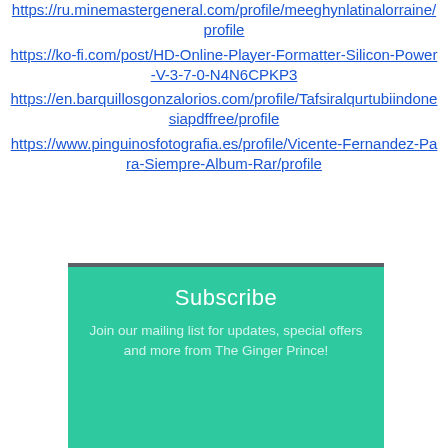https://ru.minemastergeneral.com/profile/meeghynlatinalorraine/profile https://ko-fi.com/post/HD-Online-Player-Formatter-Silicon-Power-V-3-7-0-N4N6CPKP3 https://en.barquillosgonzalorios.com/profile/Tafsiralqurtubiindonesiapdffree/profile https://www.pinguinosfotografia.es/profile/Vicente-Fernandez-Para-Siempre-Album-Rar/profile
[Figure (other): Teal/green subscribe banner with dark gray top border, white 'Subscribe' title and light text: 'Join our mailing list for updates, special offers and more from The Ginger Prince!']